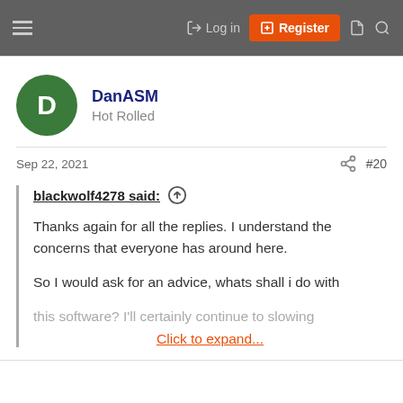Log in | Register
DanASM
Hot Rolled
Sep 22, 2021 #20
blackwolf4278 said:
Thanks again for all the replies. I understand the concerns that everyone has around here.

So I would ask for an advice, whats shall i do with this software? I'll certainly continue to slowing
Click to expand...